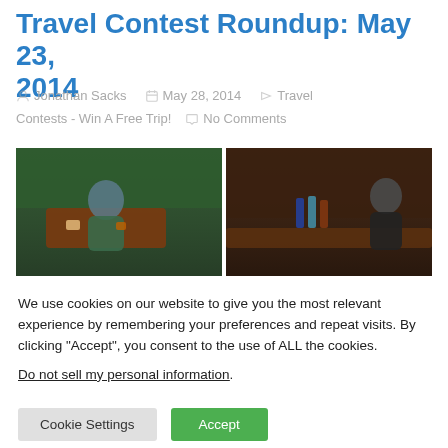Travel Contest Roundup: May 23, 2014
Jonathan Sacks   May 28, 2014   Travel Contests - Win A Free Trip!   No Comments
[Figure (photo): Two overhead/side-view photos of people in what appears to be a bar or restaurant interior with green decor and dark wood.]
We use cookies on our website to give you the most relevant experience by remembering your preferences and repeat visits. By clicking “Accept”, you consent to the use of ALL the cookies.
Do not sell my personal information.
Cookie Settings   Accept